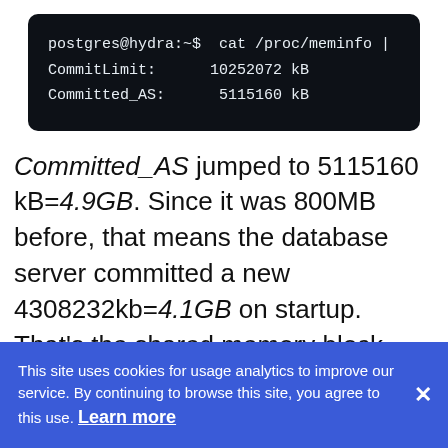[Figure (screenshot): Terminal code block showing: postgres@hydra:~$ cat /proc/meminfo | followed by CommitLimit: 10252072 kB and Committed_AS: 5115160 kB]
Committed_AS jumped to 5115160 kB=4.9GB. Since it was 800MB before, that means the database server committed a new 4308232kb=4.1GB on startup. That's the shared memory block, which includes
This site uses cookies for usage analytics to improve our service. By continuing to browse this site, you agree to this use. Learn more